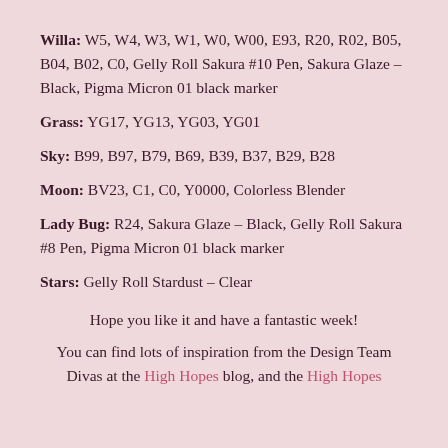Willa: W5, W4, W3, W1, W0, W00, E93, R20, R02, B05, B04, B02, C0, Gelly Roll Sakura #10 Pen, Sakura Glaze – Black, Pigma Micron 01 black marker
Grass: YG17, YG13, YG03, YG01
Sky: B99, B97, B79, B69, B39, B37, B29, B28
Moon: BV23, C1, C0, Y0000, Colorless Blender
Lady Bug: R24, Sakura Glaze – Black, Gelly Roll Sakura #8 Pen, Pigma Micron 01 black marker
Stars: Gelly Roll Stardust – Clear
Hope you like it and have a fantastic week!
You can find lots of inspiration from the Design Team Divas at the High Hopes blog, and the High Hopes